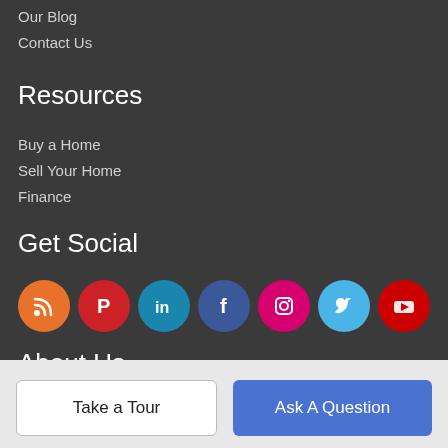Our Blog
Contact Us
Resources
Buy a Home
Sell Your Home
Finance
Get Social
[Figure (infographic): Social media icons: RSS (orange), Pinterest (red), LinkedIn (teal), Facebook (dark blue), Instagram (pink/magenta), Twitter (light blue), YouTube (red)]
About Us
Schneider Estates is Santa Cruz's most innovative real estate team.
Take a Tour  |  Ask A Question